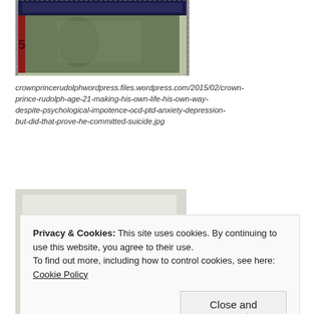[Figure (photo): Cropped top portion of a decorative postage stamp with ornate border design and a figure, partially visible]
crownprincerudolphwordpress.files.wordpress.com/2015/02/crown-prince-rudolph-age-21-making-his-own-life-his-own-way-despite-psychological-impotence-ocd-ptd-anxiety-depression-but-did-that-prove-he-committed-suicide.jpg
[Figure (photo): Photo of a white paper with handwritten text 'I tried' repeated three times in black ink, becoming slightly larger each time]
Privacy & Cookies: This site uses cookies. By continuing to use this website, you agree to their use.
To find out more, including how to control cookies, see here: Cookie Policy
Close and accept